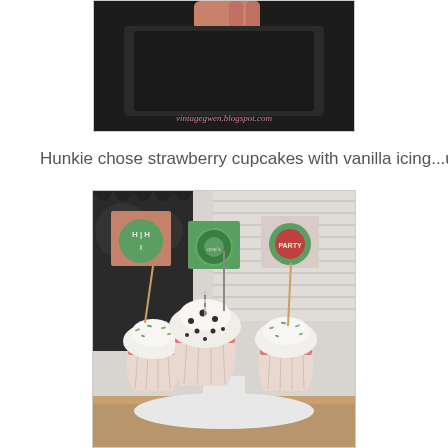[Figure (photo): Top partial photo showing a dark tray with someone's hand holding it, watermark text 'vintagegwen.blogspot.com' in pink at the bottom of the image.]
Hunkie chose strawberry cupcakes with vanilla icing...um!
[Figure (photo): Photo of three strawberry cupcakes with white vanilla icing and green sprinkles, each topped with a decorative party pick sign. One sign reads 'HI HI', another reads 'one's' with a circular design, and the third reads 'PARTY'. The cupcakes are displayed on a white stand with a wooden table in the background.]